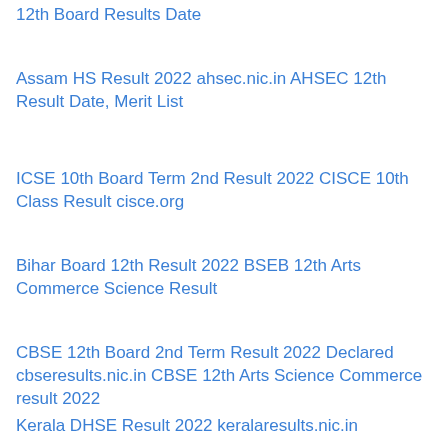12th Board Results Date
Assam HS Result 2022 ahsec.nic.in AHSEC 12th Result Date, Merit List
ICSE 10th Board Term 2nd Result 2022 CISCE 10th Class Result cisce.org
Bihar Board 12th Result 2022 BSEB 12th Arts Commerce Science Result
CBSE 12th Board 2nd Term Result 2022 Declared cbseresults.nic.in CBSE 12th Arts Science Commerce result 2022
Kerala DHSE Result 2022 keralaresults.nic.in